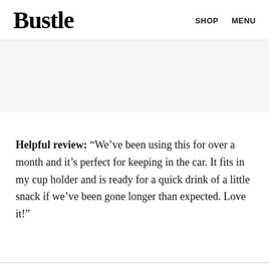Bustle   SHOP   MENU
Helpful review: “We’ve been using this for over a month and it’s perfect for keeping in the car. It fits in my cup holder and is ready for a quick drink of a little snack if we’ve been gone longer than expected. Love it!”